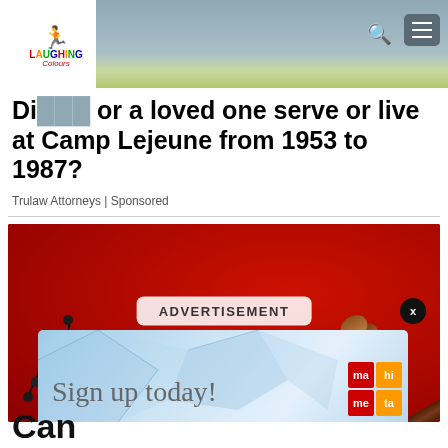[Figure (screenshot): Laughing Colours website header with logo, search icon, and hamburger menu on grey-blue background]
Did you or a loved one serve or live at Camp Lejeune from 1953 to 1987?
Trulaw Attorneys | Sponsored
[Figure (photo): Red background legal advertisement image with gavel and beads, overlaid with ADVERTISEMENT label and a sub-banner reading 'Sign up today!' with Mahata logo]
Can